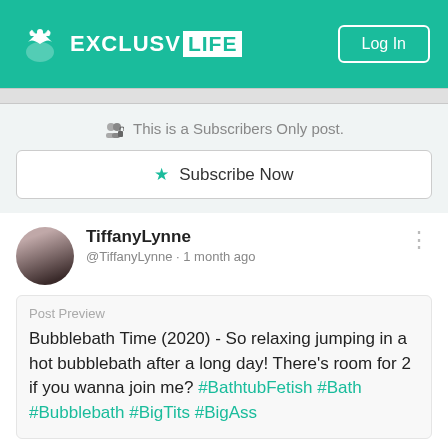EXCLUSV LIFE | Log In
This is a Subscribers Only post.
Subscribe Now
TiffanyLynne
@TiffanyLynne · 1 month ago
Post Preview
Bubblebath Time (2020) - So relaxing jumping in a hot bubblebath after a long day! There's room for 2 if you wanna join me? #BathtubFetish #Bath #Bubblebath #BigTits #BigAss
This Text is Locked
Subscribe to See More